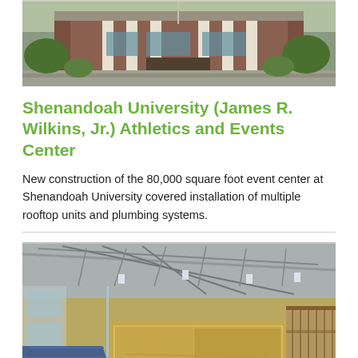[Figure (photo): Exterior photograph of Shenandoah University James R. Wilkins Jr. Athletics and Events Center showing a brick building with columns and landscaping]
Shenandoah University (James R. Wilkins, Jr.) Athletics and Events Center
New construction of the 80,000 square foot event center at Shenandoah University covered installation of multiple rooftop units and plumbing systems.
[Figure (photo): Interior photograph of the Athletics and Events Center showing gymnasium with steel truss ceiling, bleachers on the left, basketball/racquetball courts, and glass walls]